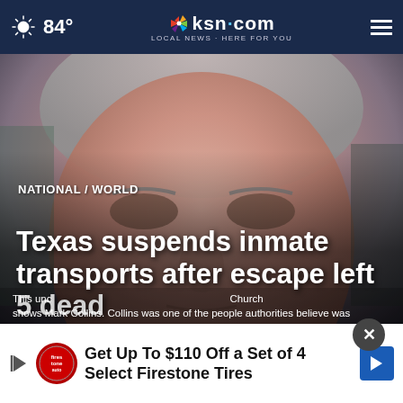84° | ksn.com LOCAL NEWS · HERE FOR YOU
[Figure (photo): Close-up photo of an older man with gray hair, face taking up most of the frame, outdoor background]
NATIONAL / WORLD
Texas suspends inmate transports after escape left 5 dead
[Figure (other): Advertisement banner: Get Up To $110 Off a Set of 4 Select Firestone Tires]
This unc... Church shows Mark Collins. Collins was one of the people authorities believe was